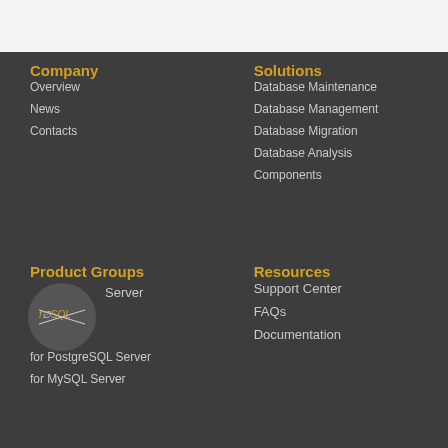Company
Overview
News
Contacts
Solutions
Database Maintenance
Database Management
Database Migration
Database Analysis
Components
Product Groups
for SQL Server
for PostgreSQL Server
for MySQL Server
Resources
Support Center
FAQs
Documentation